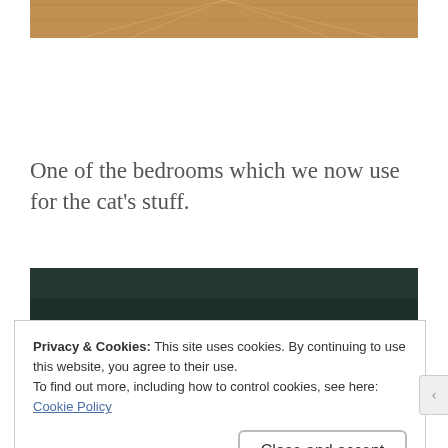[Figure (photo): Partial view of a wooden floor with light rays, cropped at top of page]
One of the bedrooms which we now use for the cat’s stuff.
[Figure (photo): Dark bedroom interior with two illuminated frosted glass windows or panels visible]
Privacy & Cookies: This site uses cookies. By continuing to use this website, you agree to their use.
To find out more, including how to control cookies, see here:
Cookie Policy
Close and accept